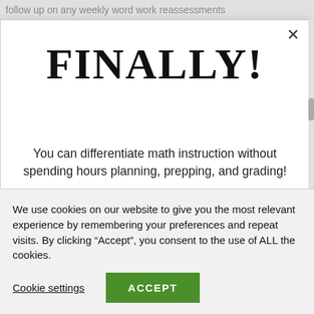follow up on any weekly word work reassessments
FINALLY!
You can differentiate math instruction without spending hours planning, prepping, and grading!
Get started by downloading your free Place Value Differentiation Bundle.
We use cookies on our website to give you the most relevant experience by remembering your preferences and repeat visits. By clicking “Accept”, you consent to the use of ALL the cookies.
Cookie settings
ACCEPT